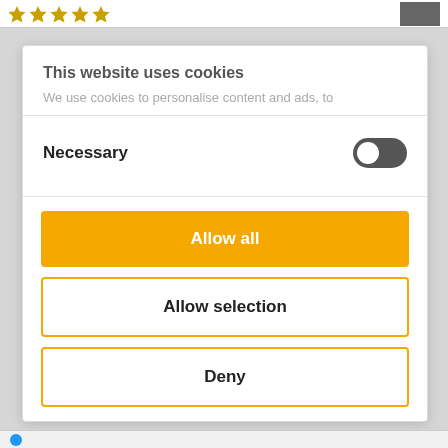[Figure (screenshot): Top bar with five gold star icons and a small black and white thumbnail image on the right]
This website uses cookies
We use cookies to personalise content and ads, to
Necessary
[Figure (other): Toggle switch in dark/on state]
Allow all
Allow selection
Deny